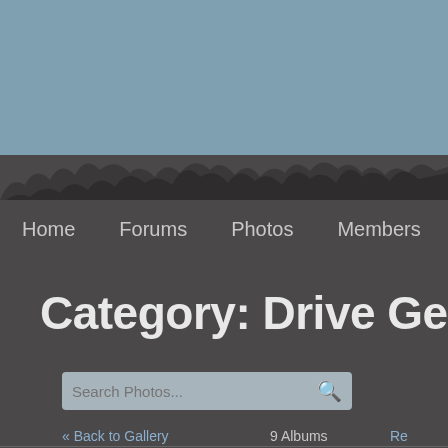[Figure (illustration): Sky background with grayish-blue color and dark silhouette treeline at the bottom]
Home   Forums   Photos   Members
Category: Drive Gears And C
Search Photos...
« Back to Gallery   9 Albums   Re